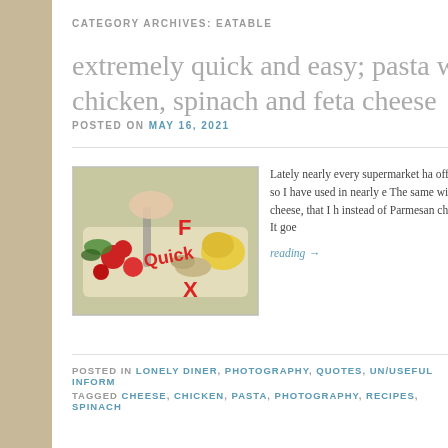CATEGORY ARCHIVES: EATABLE
extremely quick and easy; pasta w chicken, spinach and feta cheese
POSTED ON MAY 16, 2021
[Figure (photo): Photo of food prep with vegetables and text overlay 'Quick F X']
Lately nearly every supermarket ha offer … so I have used in nearly e The same with Feta cheese, that I instead of Parmesan cheese. It goe reading →
POSTED IN LONELY DINER, PHOTOGRAPHY, QUOTES, UN/USEFUL INFORM
TAGGED CHEESE, CHICKEN, PASTA, PHOTOGRAPHY, RECIPES, SPINACH